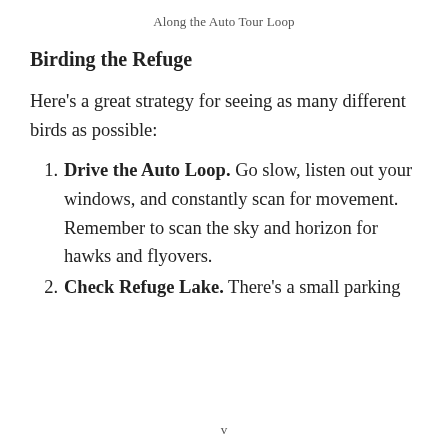Along the Auto Tour Loop
Birding the Refuge
Here’s a great strategy for seeing as many different birds as possible:
Drive the Auto Loop. Go slow, listen out your windows, and constantly scan for movement. Remember to scan the sky and horizon for hawks and flyovers.
Check Refuge Lake. There’s a small parking
v